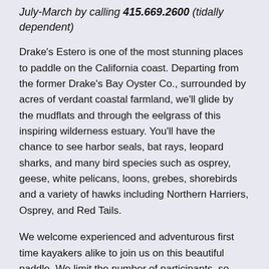July-March by calling 415.669.2600 (tidally dependent)
Drake's Estero is one of the most stunning places to paddle on the California coast. Departing from the former Drake's Bay Oyster Co., surrounded by acres of verdant coastal farmland, we'll glide by the mudflats and through the eelgrass of this inspiring wilderness estuary. You'll have the chance to see harbor seals, bat rays, leopard sharks, and many bird species such as osprey, geese, white pelicans, loons, grebes, shorebirds and a variety of hawks including Northern Harriers, Osprey, and Red Tails.
We welcome experienced and adventurous first time kayakers alike to join us on this beautiful paddle. We limit the number of participants, so please reserve